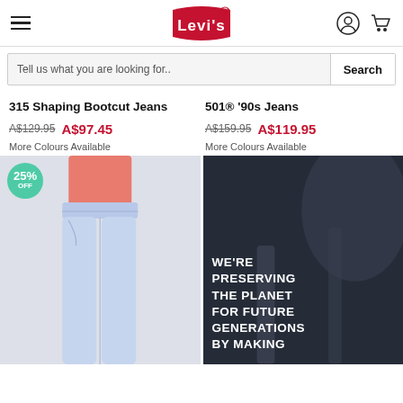Levi's
Tell us what you are looking for..  Search
315 Shaping Bootcut Jeans
A$129.95  A$97.45
More Colours Available
501® '90s Jeans
A$159.95  A$119.95
More Colours Available
[Figure (photo): Woman wearing light wash bootcut jeans with a 25% OFF badge]
[Figure (photo): Dark background image with text: WE'RE PRESERVING THE PLANET FOR FUTURE GENERATIONS BY MAKING]